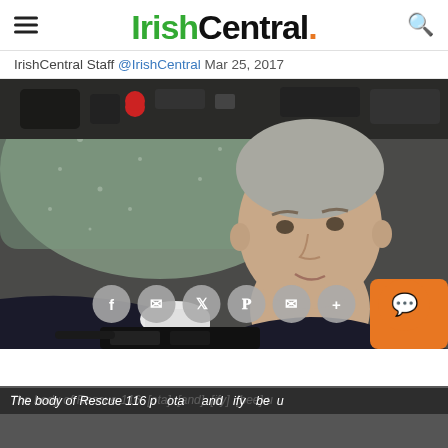IrishCentral.
IrishCentral Staff @IrishCentral Mar 25, 2017
[Figure (photo): A man in a dark uniform and orange life jacket sits inside a helicopter cockpit, smiling slightly toward the camera. Cockpit controls and a rain-speckled window are visible behind him. He is wearing white gloves.]
The body of Rescue 116 [partially obscured text] identify [partially obscured text]